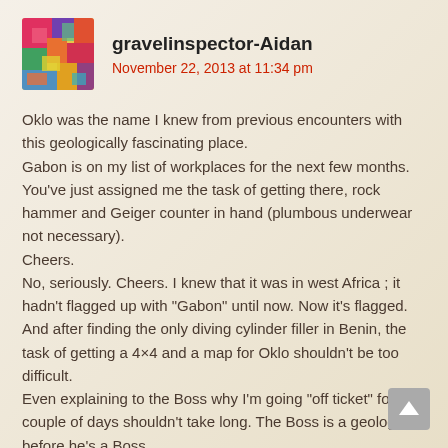[Figure (photo): Colorful abstract avatar image for user gravelinspector-Aidan]
gravelinspector-Aidan
November 22, 2013 at 11:34 pm
Oklo was the name I knew from previous encounters with this geologically fascinating place.
Gabon is on my list of workplaces for the next few months.
You've just assigned me the task of getting there, rock hammer and Geiger counter in hand (plumbous underwear not necessary).
Cheers.
No, seriously. Cheers. I knew that it was in west Africa ; it hadn't flagged up with "Gabon" until now. Now it's flagged. And after finding the only diving cylinder filler in Benin, the task of getting a 4×4 and a map for Oklo shouldn't be too difficult.
Even explaining to the Boss why I'm going "off ticket" for a couple of days shouldn't take long. The Boss is a geologist before he's a Boss.